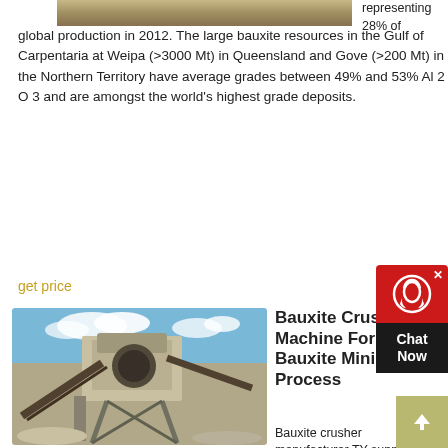[Figure (photo): Top portion of a mining/industrial facility photo, cropped at top]
representing 28% of global production in 2012. The large bauxite resources in the Gulf of Carpentaria at Weipa (>3000 Mt) in Queensland and Gove (>200 Mt) in the Northern Territory have average grades between 49% and 53% Al 2 O 3 and are amongst the world's highest grade deposits.
get price
[Figure (photo): Bauxite crushing machine / jaw crusher industrial equipment at a mining site with blue sky background]
Bauxite Crushing Machine For Bauxite Mining Process
Bauxite crusher manufacturer TY supplies bauxite crushers and other mining machines for aluminum ore crushing production in Australia Guinea Brazil Raw Bauxite Crushing Process Bauxite ore in larger size will be fed into the jaw crusher evenly and gradually by vibrating feeder through a hopper for